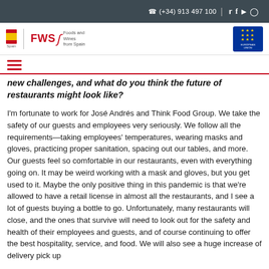(+34) 913 497 100
new challenges, and what do you think the future of restaurants might look like?
I'm fortunate to work for José Andrés and Think Food Group. We take the safety of our guests and employees very seriously. We follow all the requirements—taking employees' temperatures, wearing masks and gloves, practicing proper sanitation, spacing out our tables, and more. Our guests feel so comfortable in our restaurants, even with everything going on. It may be weird working with a mask and gloves, but you get used to it. Maybe the only positive thing in this pandemic is that we're allowed to have a retail license in almost all the restaurants, and I see a lot of guests buying a bottle to go. Unfortunately, many restaurants will close, and the ones that survive will need to look out for the safety and health of their employees and guests, and of course continuing to offer the best hospitality, service, and food. We will also see a huge increase of delivery pick up